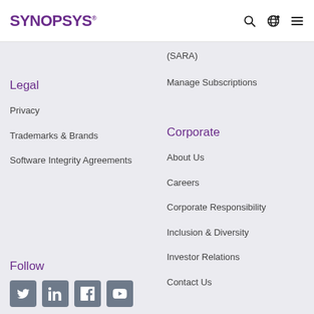Synopsys
(SARA)
Manage Subscriptions
Legal
Corporate
Privacy
About Us
Trademarks & Brands
Careers
Software Integrity Agreements
Corporate Responsibility
Inclusion & Diversity
Investor Relations
Contact Us
Follow
[Figure (other): Social media icons: Twitter, LinkedIn, Facebook, YouTube]